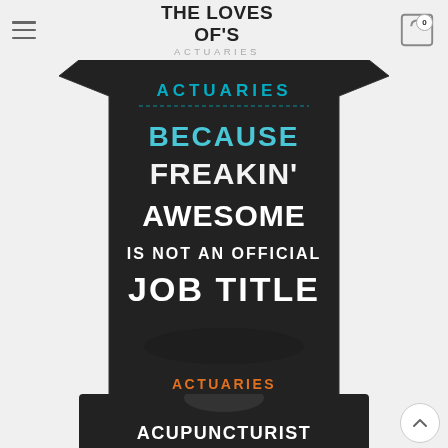THE LOVES OF'S ACTUARIES
[Figure (photo): Black t-shirt with text: BECAUSE FREAKIN' AWESOME IS NOT AN OFFICIAL JOB TITLE, with ACTUARIES in cyan/teal lettering at top]
ACTUARIES
[Figure (photo): Second black t-shirt partially visible at bottom with text ACUPUNCTURIST]